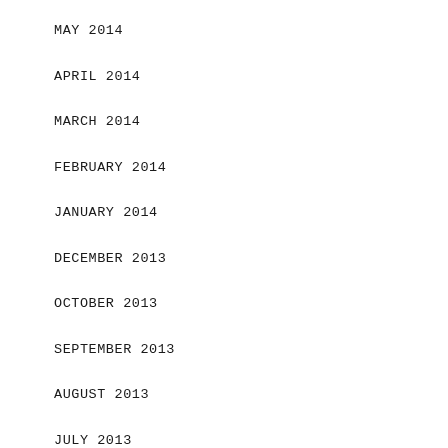MAY 2014
APRIL 2014
MARCH 2014
FEBRUARY 2014
JANUARY 2014
DECEMBER 2013
OCTOBER 2013
SEPTEMBER 2013
AUGUST 2013
JULY 2013